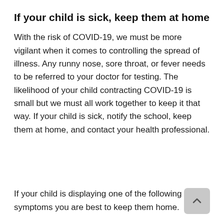If your child is sick, keep them at home
With the risk of COVID-19, we must be more vigilant when it comes to controlling the spread of illness. Any runny nose, sore throat, or fever needs to be referred to your doctor for testing. The likelihood of your child contracting COVID-19 is small but we must all work together to keep it that way. If your child is sick, notify the school, keep them at home, and contact your health professional.
If your child is displaying one of the following symptoms you are best to keep them home.